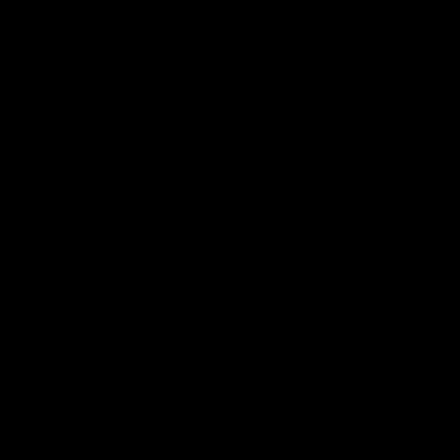[Figure (photo): Completely black image, no discernible content visible.]